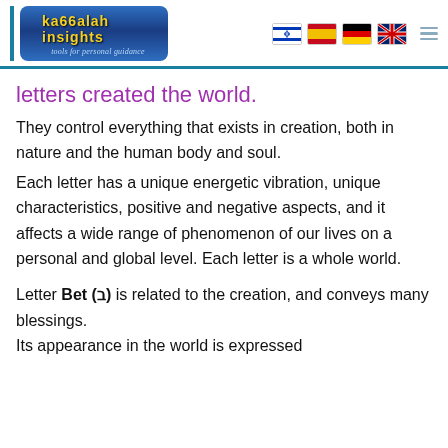Kabbalah Insights — tools for personal guidance
letters created the world.
They control everything that exists in creation, both in nature and the human body and soul.
Each letter has a unique energetic vibration, unique characteristics, positive and negative aspects, and it affects a wide range of phenomenon of our lives on a personal and global level. Each letter is a whole world.
Letter Bet (ב) is related to the creation, and conveys many blessings. Its appearance in the world is expressed